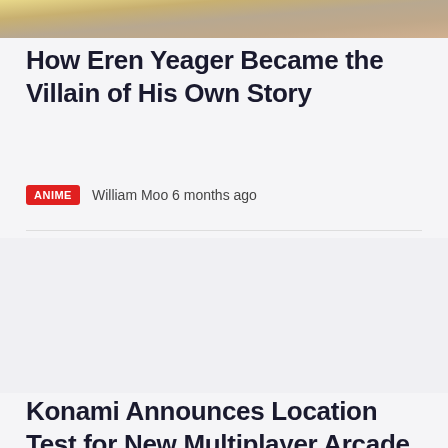[Figure (photo): Top portion of an article thumbnail image showing warm yellowish-tan tones, partially cropped]
How Eren Yeager Became the Villain of His Own Story
ANIME  William Moo 6 months ago
Konami Announces Location Test for New Multiplayer Arcade Game CHASE CHASE